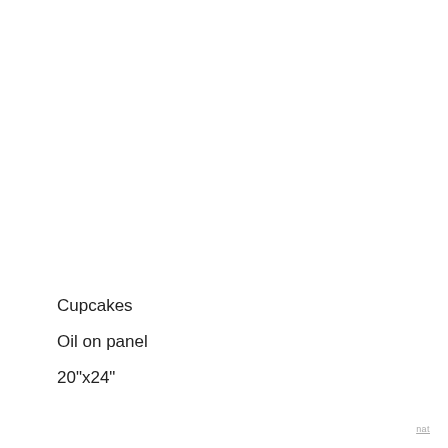Cupcakes
Oil on panel
20"x24"
nat